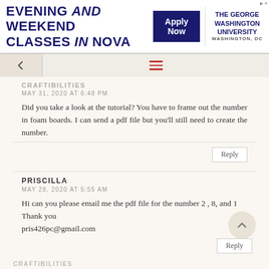[Figure (other): Advertisement banner: EVENING and WEEKEND CLASSES in NOVA, Apply Now button, The George Washington University, Washington DC logo]
CRAFTIBILITIES
MAY 31, 2020 AT 6:48 PM
Did you take a look at the tutorial? You have to frame out the number in foam boards. I can send a pdf file but you'll still need to create the number.
Reply
PRISCILLA
MAY 28, 2020 AT 5:55 AM
Hi can you please email me the pdf file for the number 2 , 8, and 1 Thank you
pris426pc@gmail.com
Reply
CRAFTIBILITIES